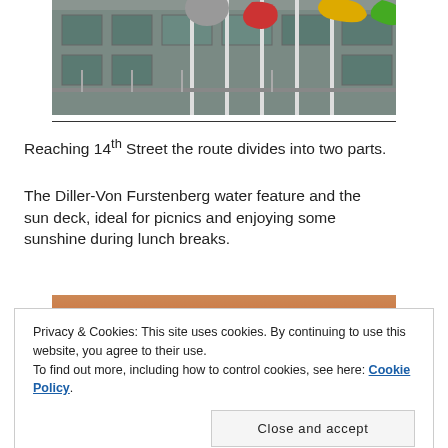[Figure (photo): Photograph of colorful outdoor sculptures (red, yellow, gray) in front of a modern building with glass windows and metal railings.]
Reaching 14th Street the route divides into two parts.
The Diller-Von Furstenberg water feature and the sun deck, ideal for picnics and enjoying some sunshine during lunch breaks.
[Figure (photo): Partial photograph showing a building with red brick facade and lush green trees/plants in the foreground.]
Privacy & Cookies: This site uses cookies. By continuing to use this website, you agree to their use.
To find out more, including how to control cookies, see here: Cookie Policy